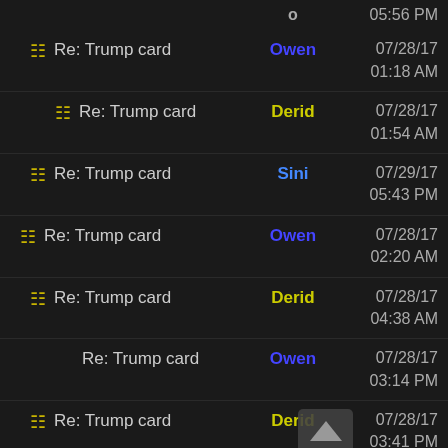o  05:56 PM
Re: Trump card  Owen  07/28/17 01:18 AM
Re: Trump card  Derid  07/28/17 01:54 AM
Re: Trump card  Sini  07/29/17 05:43 PM
Re: Trump card  Owen  07/28/17 02:20 AM
Re: Trump card  Derid  07/28/17 04:38 AM
Re: Trump card  Owen  07/28/17 03:14 PM
Re: Trump card  Derid  07/28/17 03:41 PM